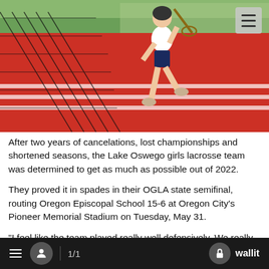[Figure (photo): A lacrosse player in white uniform and dark shorts running on a red track field, carrying a lacrosse stick. A black net is visible on the left. Green grass and bleachers visible in the background.]
After two years of cancelations, lost championships and shortened seasons, the Lake Oswego girls lacrosse team was determined to get as much as possible out of 2022.
They proved it in spades in their OGLA state semifinal, routing Oregon Episcopal School 15-6 at Oregon City's Pioneer Memorial Stadium on Tuesday, May 31.
"I feel like the team played really well defensively. We really stepped it up," said Lake Oswego senior goalie Greta Brown, who made eight saves in the win over OES. "We've had a few setbacks in some games, but I think today we really gave it our all and we
1/1   wallit